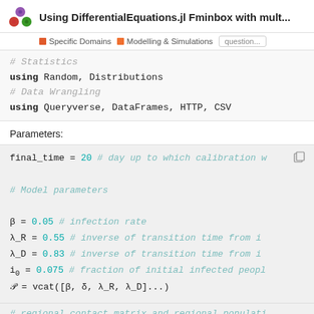Using DifferentialEquations.jl Fminbox with mult...
Specific Domains  Modelling & Simulations  question...
# Statistics
using Random, Distributions
# Data Wrangling
using Queryverse, DataFrames, HTTP, CSV
Parameters:
final_time = 20 # day up to which calibration w

# Model parameters

β = 0.05 # infection rate
λ_R = 0.55 # inverse of transition time from i
λ_D = 0.83 # inverse of transition time from i
i₀ = 0.075 # fraction of initial infected peopl
P = vcat([β, δ, λ_R, λ_D]...)

# regional contact matrix and regional populati